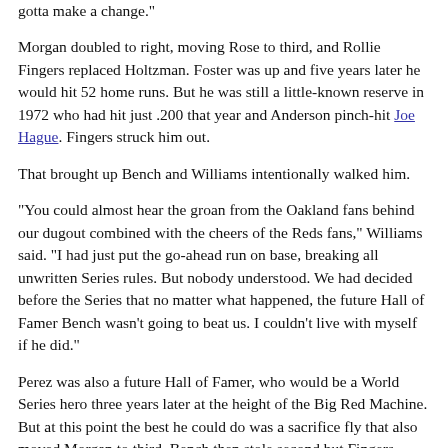gotta make a change."
Morgan doubled to right, moving Rose to third, and Rollie Fingers replaced Holtzman. Foster was up and five years later he would hit 52 home runs. But he was still a little-known reserve in 1972 who had hit just .200 that year and Anderson pinch-hit Joe Hague. Fingers struck him out.
That brought up Bench and Williams intentionally walked him.
"You could almost hear the groan from the Oakland fans behind our dugout combined with the cheers of the Reds fans," Williams said. "I had just put the go-ahead run on base, breaking all unwritten Series rules. But nobody understood. We had decided before the Series that no matter what happened, the future Hall of Famer Bench wasn't going to beat us. I couldn't live with myself if he did."
Perez was also a future Hall of Famer, who would be a World Series hero three years later at the height of the Big Red Machine. But at this point the best he could do was a sacrifice fly that also moved Morgan to third. Bench then stole second but Fingers struck out Menke to end the inning. The Athletics had one more inning to go and had the right man on the mound.
Rollie Fingers had signed with the Oakland Athletics in 1964 for